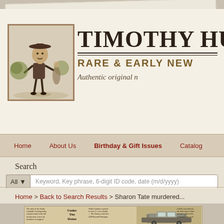[Figure (logo): Timothy Hughes Rare & Early Newspapers website header with vintage boy illustration logo and site name]
TIMOTHY HU... | RARE & EARLY NEW... | Authentic original n...
Home   About Us   Birthday & Gift Issues   Catalog
Search
All ▼   Keyword, Key phrase, 6-digit ID code, date (m/d/yyyy)
Home > Back to Search Results > Sharon Tate murdered...
[Figure (photo): Vintage newspaper pages showing articles including one titled 'Under The Dome' and a photograph of an old vehicle]